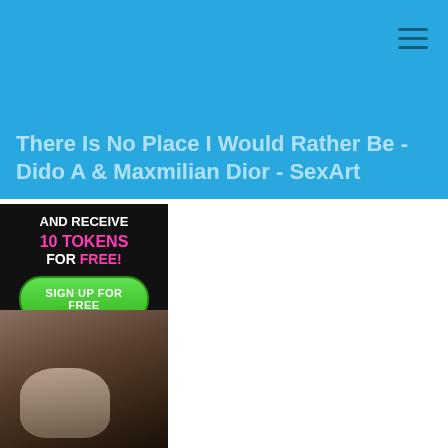There Is No Place I Would Rather Be - Dido A & Maxmilian Dior - SexArt
[Figure (illustration): Advertisement banner with dark background showing text 'AND RECEIVE 10 TOKENS FOR FREE!' with a green 'SIGN UP FOR FREE' button, and a photo of a young woman reclining on a tufted sofa/chair wearing black lingerie.]